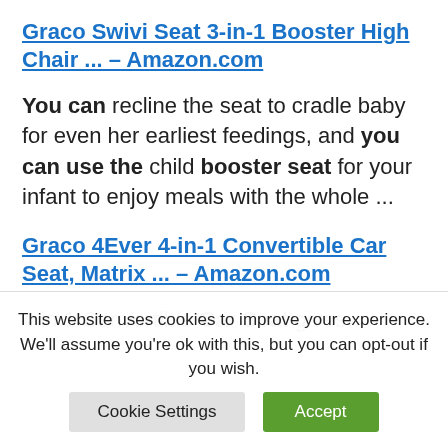Graco Swivi Seat 3-in-1 Booster High Chair ... – Amazon.com
You can recline the seat to cradle baby for even her earliest feedings, and you can use the child booster seat for your infant to enjoy meals with the whole ...
Graco 4Ever 4-in-1 Convertible Car Seat, Matrix ... – Amazon.com
4 in 1 Convertible Car Seat gives
This website uses cookies to improve your experience. We'll assume you're ok with this, but you can opt-out if you wish.